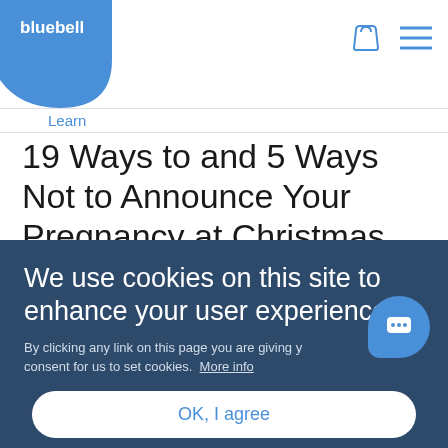bluebell
Learn
19 Ways to and 5 Ways Not to Announce Your Pregnancy at Christmas
If you're expecting and planning on announcing your pregnancy at Christmas, congratulations! Christmas is the time for joy, giving, and, most importantly, some festive family fun! And how
We use cookies on this site to enhance your user experience
By clicking any link on this page you are giving your consent for us to set cookies. More info
OK, I agree